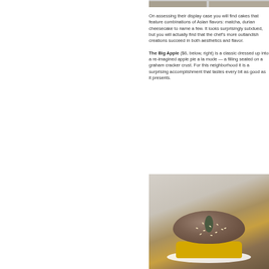[Figure (photo): Partial view of top images — cropped photos at top of right column]
On assessing their display case you will find cakes that feature combinations of Asian flavors: matcha, durian cheesecake to name a few. It looks surprisingly subdued, but you will actually find that the chef's more outlandish creations succeed in both aesthetics and flavor.
The Big Apple ($6, below, right) is a classic dressed up into a re-imagined apple pie a la mode — a filling seated on a graham cracker crust. For this neighborhood it is a surprising accomplishment that tastes every bit as good as it presents.
[Figure (photo): Photo of a creative dessert styled like a burger/macaron with a yellow layer and sesame-seed-topped macaron bun, with a dark leaf/coin garnish on top, on a white plate]